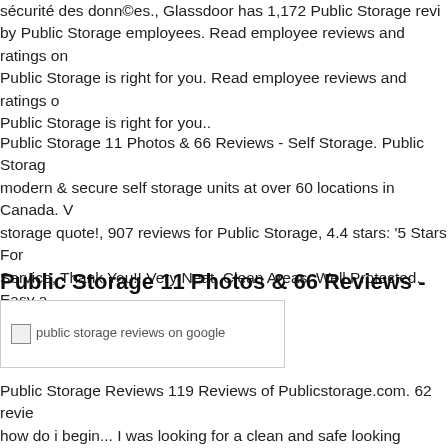sécurité des donn©es., Glassdoor has 1,172 Public Storage reviews submitted by Public Storage employees. Read employee reviews and ratings on Public Storage is right for you. Read employee reviews and ratings on Public Storage is right for you..
Public Storage 11 Photos & 66 Reviews - Self Storage. Public Storage modern & secure self storage units at over 60 locations in Canada. V storage quote!, 907 reviews for Public Storage, 4.4 stars: '5 Stars For Service, Thank You!! Very Neat, Clean Areas, Well Protected. Easy a great Experience'.
Public Storage 11 Photos & 66 Reviews - Self Storage
[Figure (photo): Broken image placeholder labeled 'public storage reviews on google']
Public Storage Reviews 119 Reviews of Publicstorage.com. 62 revie how do i begin... I was looking for a clean and safe looking location grandparents valuables and saw the storage location near my home. I before i go and waste myвЂ¦ 66 reviews of Public Storage "Read som this place, but I checked them out anyways. Jose was extremely hel